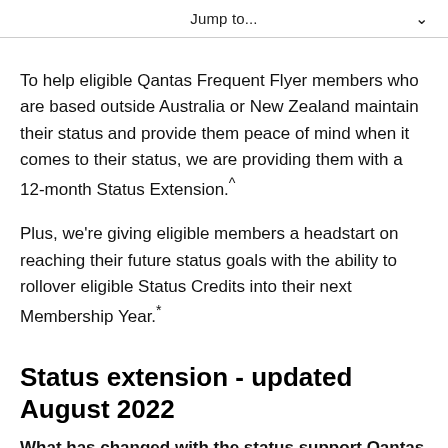Jump to...
To help eligible Qantas Frequent Flyer members who are based outside Australia or New Zealand maintain their status and provide them peace of mind when it comes to their status, we are providing them with a 12-month Status Extension.^
Plus, we're giving eligible members a headstart on reaching their future status goals with the ability to rollover eligible Status Credits into their next Membership Year.*
Status extension - updated August 2022
What has changed with the status support Qantas is